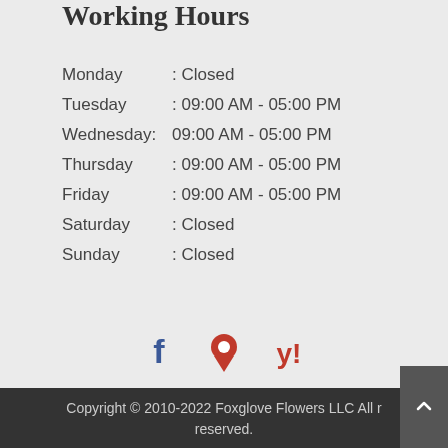Working Hours
| Day |  | Hours |
| --- | --- | --- |
| Monday | : | Closed |
| Tuesday | : | 09:00 AM - 05:00 PM |
| Wednesday | : | 09:00 AM - 05:00 PM |
| Thursday | : | 09:00 AM - 05:00 PM |
| Friday | : | 09:00 AM - 05:00 PM |
| Saturday | : | Closed |
| Sunday | : | Closed |
[Figure (infographic): Social media icons: Facebook (blue), Google Maps pin (red), Yelp (red)]
Copyright © 2010-2022 Foxglove Flowers LLC All rights reserved.